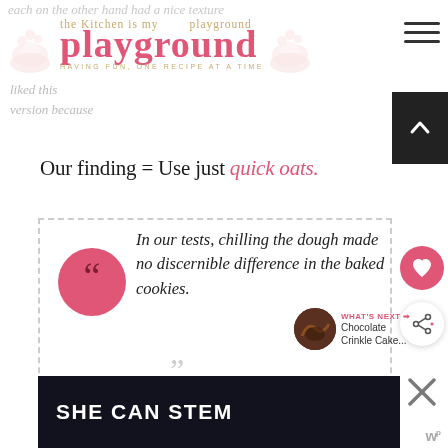the Kitchen is my playground — HAVING FUN, ONE RECIPE AT A TIME
each on the other hand had a nice texture variation because...liked this version because...
Our finding = Use just quick oats.
In our tests, chilling the dough made no discernible difference in the baked cookies.
[Figure (screenshot): Dark banner ad with text 'SHE CAN STEM']